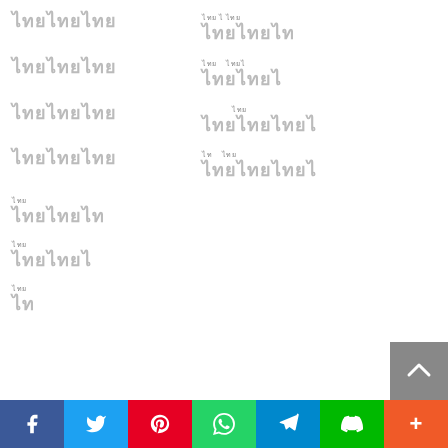[Thai script entry 1 left] [Thai script entry 1 right]
[Thai script entry 2 left] [Thai script entry 2 right]
[Thai script entry 3 left] [Thai script entry 3 right]
[Thai script entry 4 left] [Thai script entry 4 right]
[Thai script single entry 1]
[Thai script single entry 2]
[Thai script single entry 3]
Social share bar: Facebook, Twitter, Pinterest, WhatsApp, Telegram, Line, More